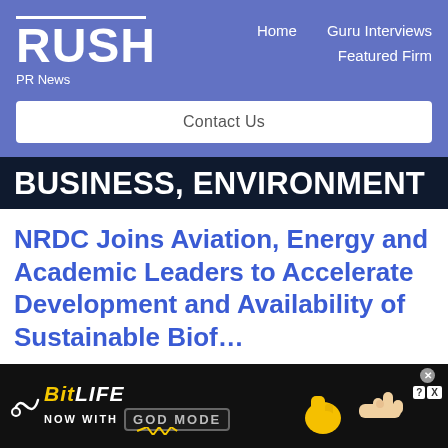[Figure (logo): RUSH PR News logo with white bar above, white bold RUSH text, and PR News subtitle, on blue background]
Home   Guru Interviews   Featured Firm
Contact Us
BUSINESS, ENVIRONMENT
NRDC Joins Aviation, Energy and Academic Leaders to Accelerate Development and Availability of Sustainable Biof...
[Figure (screenshot): BitLife advertisement banner with GOD MODE promotion, thumbs up emoji, pointing hand illustration, and close button]